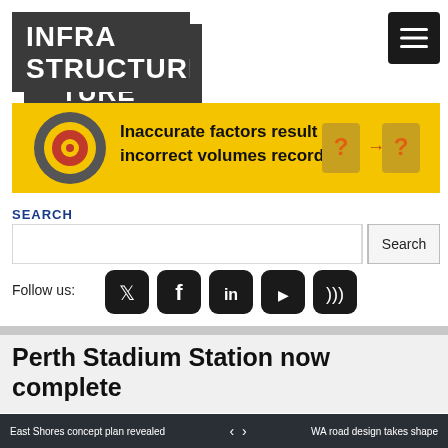[Figure (logo): Infrastructure magazine logo - white bold text on dark grey background]
[Figure (illustration): Hamburger menu icon - three horizontal white lines on black rounded rectangle]
[Figure (infographic): Yellow advertisement banner: target/bullseye icon on left, text 'Inaccurate factors result in incorrect volumes recorded.' in center, cartoon question mark boxes on right]
SEARCH
[Figure (screenshot): Search input box and Search button]
Follow us:
[Figure (infographic): Social media icons row: Twitter, Facebook, LinkedIn, YouTube, RSS - all white icons on black rounded square backgrounds]
Perth Stadium Station now complete
Jessica Dickers
December 4, 2017
East Shores concept plan revealed  <  >  WA road design takes shape